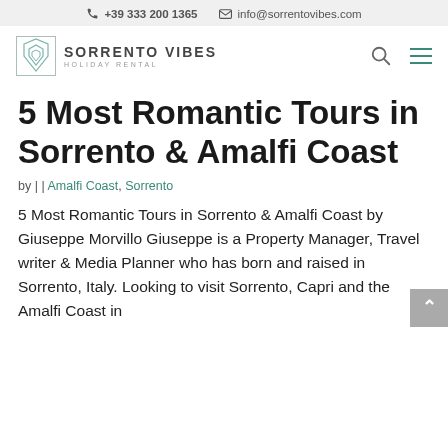📞 +39 333 200 1365   ✉ info@sorrentovibes.com
[Figure (logo): Sorrento Vibes Holiday Rental logo with geometric diamond icon and text]
5 Most Romantic Tours in Sorrento & Amalfi Coast
by | | Amalfi Coast, Sorrento
5 Most Romantic Tours in Sorrento & Amalfi Coast by Giuseppe Morvillo Giuseppe is a Property Manager, Travel writer & Media Planner who has born and raised in Sorrento, Italy. Looking to visit Sorrento, Capri and the Amalfi Coast in